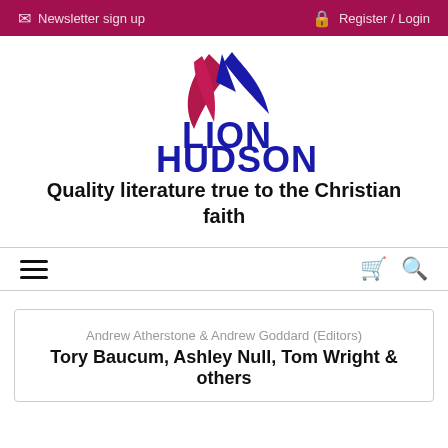Newsletter sign up   Register / Login
[Figure (logo): Lion Hudson logo with stylized dove/feather above the text LION HUDSON in dark blue]
Quality literature true to the Christian faith
Andrew Atherstone & Andrew Goddard (Editors)
Tory Baucum, Ashley Null, Tom Wright & others